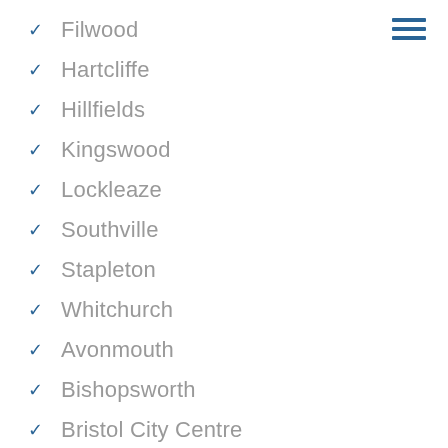Filwood
Hartcliffe
Hillfields
Kingswood
Lockleaze
Southville
Stapleton
Whitchurch
Avonmouth
Bishopsworth
Bristol City Centre
Easton